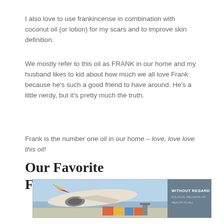I also love to use frankincense in combination with coconut oil (or lotion) for my scars and to improve skin definition.
We mostly refer to this oil as FRANK in our home and my husband likes to kid about how much we all love Frank because he's such a good friend to have around. He's a little nerdy, but it's pretty much the truth.
Frank is the number one oil in our home – love, love love this oil!
Our Favorite FRANK
[Figure (photo): Advertisement banner showing an airplane being loaded with cargo at an airport, with text overlay reading 'WITHOUT REGARD TO POLITICS, RELIGION OR HEALTH TO ALL']